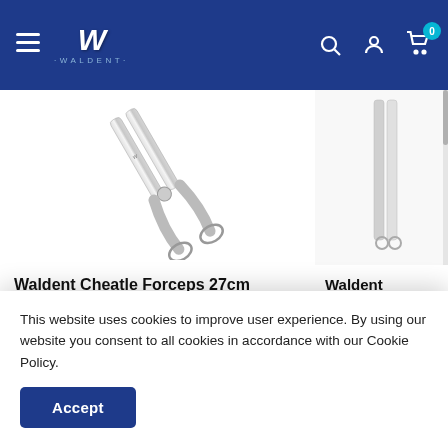Waldent — Navigation bar with logo, search, account, and cart (0 items)
[Figure (photo): Waldent Cheatle Forceps 27cm — stainless steel forceps, curved, chrome finish, on white background]
Waldent Cheatle Forceps 27cm
Rs. 750  Rs. 1,500
[Figure (photo): Waldent Straight Pr... 13/101 — partially visible product image on right side]
Waldent Straight Pr... 13/101
Rs. 150  Rs. 290
This website uses cookies to improve user experience. By using our website you consent to all cookies in accordance with our Cookie Policy.
Accept